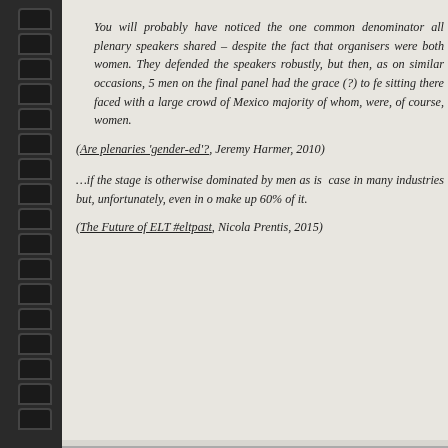You will probably have noticed the one common denominator all plenary speakers shared – despite the fact that organisers were both women. They defended their speakers robustly, but then, as on similar occasions, the 5 men on the final panel had the grace (?) to feel sitting there faced with a large crowd of Mexican majority of whom, were, of course, women.
(Are plenaries 'gender-ed'?, Jeremy Harmer, 2010)
…if the stage is otherwise dominated by men as is the case in many industries but, unfortunately, even in a make up 60% of it.
(The Future of ELT #eltpast, Nicola Prentis, 2015)